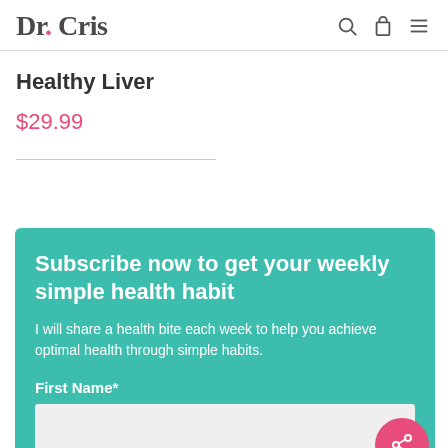Dr. Cris
Healthy Liver
$29.99
Subscribe now to get your weekly simple health habit
I will share a health bite each week to help you achieve optimal health through simple habits.
First Name*